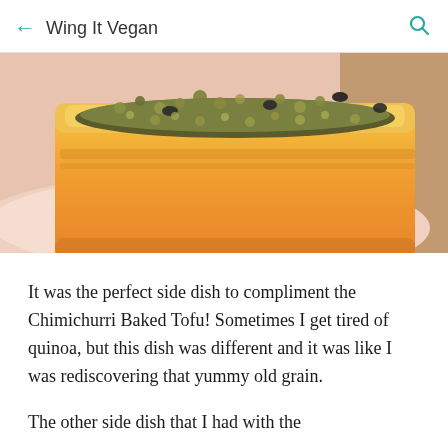Wing It Vegan
[Figure (photo): Close-up photo of a bowl of quinoa with black beans in an orange ceramic ramekin on a pink/white plate, on a wooden surface.]
It was the perfect side dish to compliment the Chimichurri Baked Tofu! Sometimes I get tired of quinoa, but this dish was different and it was like I was rediscovering that yummy old grain.
The other side dish that I had with the